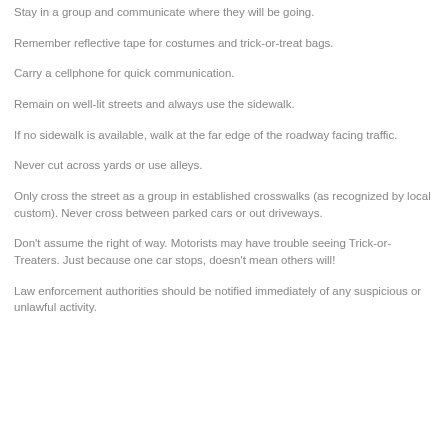Stay in a group and communicate where they will be going.
Remember reflective tape for costumes and trick-or-treat bags.
Carry a cellphone for quick communication.
Remain on well-lit streets and always use the sidewalk.
If no sidewalk is available, walk at the far edge of the roadway facing traffic.
Never cut across yards or use alleys.
Only cross the street as a group in established crosswalks (as recognized by local custom). Never cross between parked cars or out driveways.
Don't assume the right of way. Motorists may have trouble seeing Trick-or-Treaters. Just because one car stops, doesn't mean others will!
Law enforcement authorities should be notified immediately of any suspicious or unlawful activity.